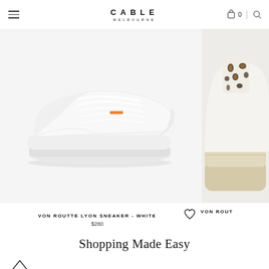CABLE MELBOURNE — navigation header with hamburger menu, cart icon (0), and search icon
[Figure (photo): White leather low-top sneaker (Von Routte Lyon Sneaker - White) shown from the side on a light grey background]
[Figure (photo): Partial view of a second sneaker with leopard print detail on the heel tab, light beige sole, on a light background]
VON ROUTTE LYON SNEAKER - WHITE
$280
VON ROUT
Shopping Made Easy